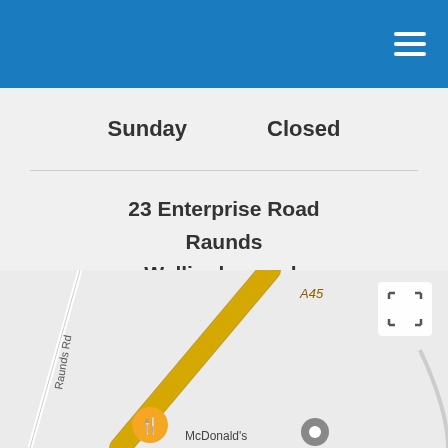Sunday    Closed
23 Enterprise Road
Raunds
Wellingborough
Northamptonshire
NN9 6JE
[Figure (map): Street map showing A45 road near Raunds Road, with McDonald's restaurant marker and another location marker. A45 road label visible, Raunds Rd label on side road.]